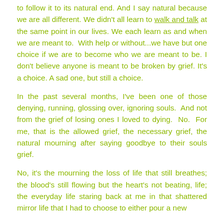to follow it to its natural end. And I say natural because we are all different. We didn't all learn to walk and talk at the same point in our lives. We each learn as and when we are meant to.  With help or without...we have but one choice if we are to become who we are meant to be. I don't believe anyone is meant to be broken by grief. It's a choice. A sad one, but still a choice.
In the past several months, I've been one of those denying, running, glossing over, ignoring souls.  And not from the grief of losing ones I loved to dying.  No.  For me, that is the allowed grief, the necessary grief, the natural mourning after saying goodbye to their souls grief.
No, it's the mourning the loss of life that still breathes; the blood's still flowing but the heart's not beating, life; the everyday life staring back at me in that shattered mirror life that I had to choose to either pour a new...